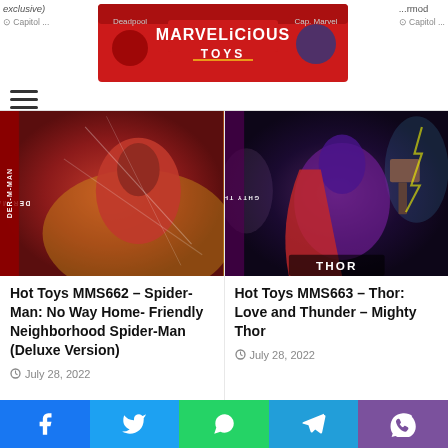[Figure (photo): Marvelicious Toys banner advertisement with Deadpool and Captain Marvel characters]
[Figure (photo): Spider-Man figure in red costume crouching in action pose - Hot Toys MMS662]
Hot Toys MMS662 – Spider-Man: No Way Home- Friendly Neighborhood Spider-Man (Deluxe Version)
July 28, 2022
[Figure (photo): Mighty Thor female figure holding hammer - Hot Toys MMS663]
Hot Toys MMS663 – Thor: Love and Thunder – Mighty Thor
July 28, 2022
Comments  Community  Privacy Policy  1  Lo...